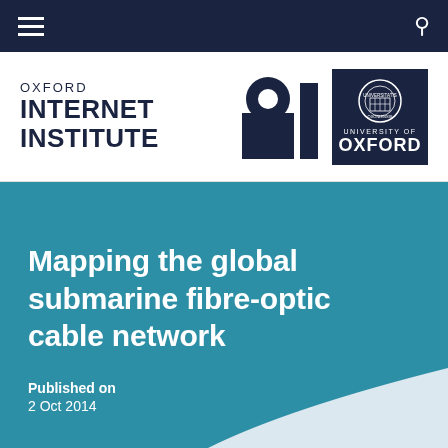Oxford Internet Institute — navigation bar
[Figure (logo): Oxford Internet Institute logo with OII graphic mark and University of Oxford crest]
Mapping the global submarine fibre-optic cable network
Published on
2 Oct 2014